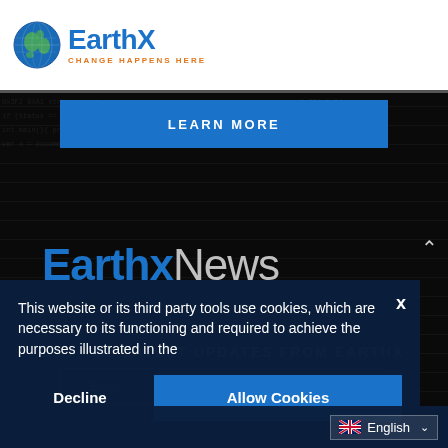[Figure (logo): EarthX logo with globe icon and tagline CHANGE HAPPENS HERE]
[Figure (screenshot): Dark background webpage section with LEARN MORE blue button and EarthxNews logo]
This website or its third party tools use cookies, which are necessary to its functioning and required to achieve the purposes illustrated in the
Decline
Allow Cookies
English